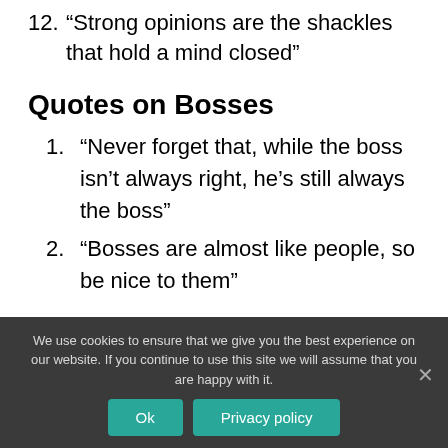12. “Strong opinions are the shackles that hold a mind closed”
Quotes on Bosses
1. “Never forget that, while the boss isn’t always right, he’s still always the boss”
2. “Bosses are almost like people, so be nice to them”
We use cookies to ensure that we give you the best experience on our website. If you continue to use this site we will assume that you are happy with it.